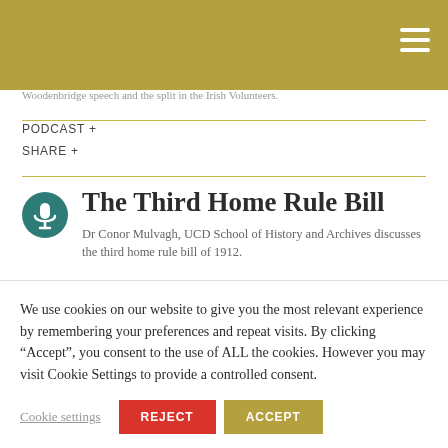Woodenbridge speech and the split in the Irish Volunteers.
PODCAST +
SHARE +
The Third Home Rule Bill
Dr Conor Mulvagh, UCD School of History and Archives discusses the third home rule bill of 1912.
We use cookies on our website to give you the most relevant experience by remembering your preferences and repeat visits. By clicking “Accept”, you consent to the use of ALL the cookies. However you may visit Cookie Settings to provide a controlled consent.
Cookie settings   REJECT   ACCEPT